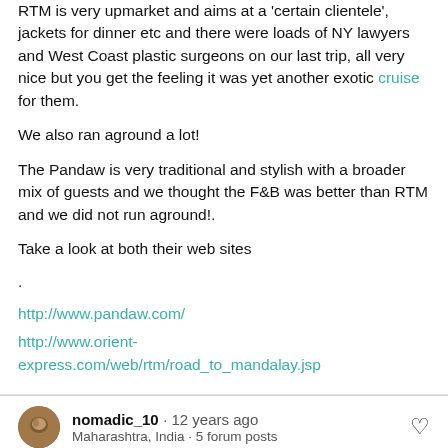RTM is very upmarket and aims at a 'certain clientele', jackets for dinner etc and there were loads of NY lawyers and West Coast plastic surgeons on our last trip, all very nice but you get the feeling it was yet another exotic cruise for them.
We also ran aground a lot!
The Pandaw is very traditional and stylish with a broader mix of guests and we thought the F&B was better than RTM and we did not run aground!.
Take a look at both their web sites
.
http://www.pandaw.com/
http://www.orient-express.com/web/rtm/road_to_mandalay.jsp
nomadic_10 · 12 years ago
Maharashtra, India · 5 forum posts
#4 of 7 · Thank you for your links and comments - we are in the process of weighing above both options. We both like the idea of a slightly longer cruise and are attracted to the two week itinery. We want to go in February'ish and are trying to put a whole package together. Is Burma safe